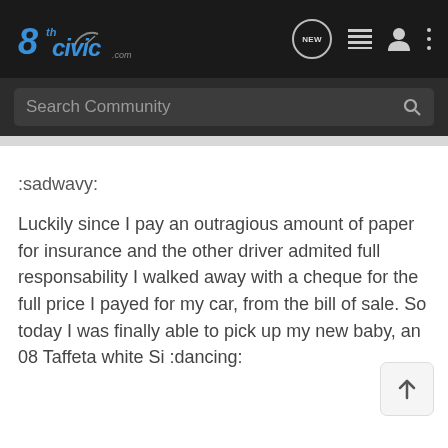8thCivic.com navigation bar with logo, NEW button, list icon, user icon, more icon
Search Community
:sadwavy:
Luckily since I pay an outragious amount of paper for insurance and the other driver admited full responsability I walked away with a cheque for the full price I payed for my car, from the bill of sale. So today I was finally able to pick up my new baby, an 08 Taffeta white Si :dancing: